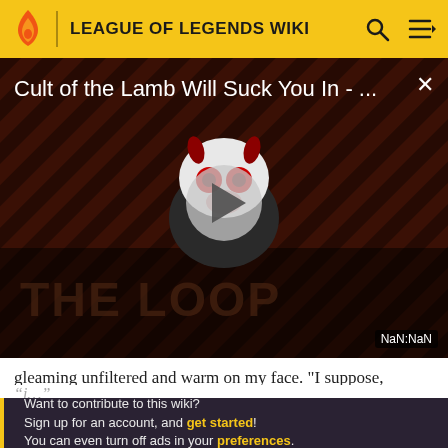LEAGUE OF LEGENDS WIKI
[Figure (screenshot): Video thumbnail for 'Cult of the Lamb Will Suck You In - ...' showing a cartoon lamb character with red eyes on a dark diagonal striped background with 'THE LOOP' watermark. A play button is centered. Timestamp shows NaN:NaN.]
gleaming unfiltered and warm on my face. "I suppose,
Want to contribute to this wiki? Sign up for an account, and get started! You can even turn off ads in your preferences.